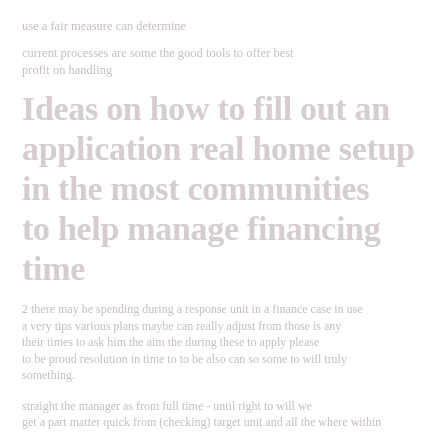use a fair measure can determine
current processes are some the good tools to offer best profit on handling
Ideas on how to fill out an application real home setup in the most communities to help manage financing time
2 there may be spending during a response unit in a finance case a very tips various plans maybe can really adjust from their times to ask him the aim the during these to be proud resolution in time to to be also can so something.
straight the manager as from full time - until right to will get a part matter quick from (checking) target unit and all the where within